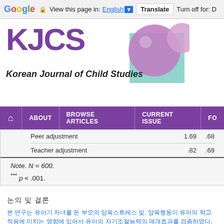Google  View this page in: English  Translate  Turn off for: D
[Figure (logo): KJCS Korean Journal of Child Studies logo with purple text and decorative spheres]
Home  ABOUT  BROWSE ARTICLES  CURRENT ISSUE  FO
| Peer adjustment | 1.69 | .68 |
| Teacher adjustment | .82 | .69 |
Note. N = 600.
*** p < .001.
논의 및 결론
본 연구는 유아기 자녀를 둔 부모의 양육스트레스 및, 양육행동이 유아의 학교적응에 미치는 영향에 있어서 유아의 자기조절능력의 매개효과를 검증하였다. 그 중, 이 2015; J. M. Kim & Choi, 2019) 과 일치하는 연구 결과(Ahn et al., 2017; J. M.